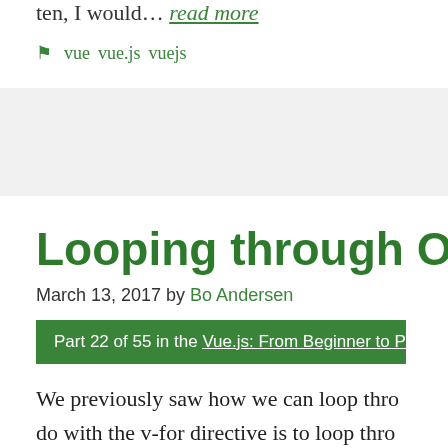ten, I would… read more
vue   vue.js   vuejs
Looping through Object
March 13, 2017 by Bo Andersen
Part 22 of 55 in the Vue.js: From Beginner to Professional se
We previously saw how we can loop thro do with the v-for directive is to loop thro how to loop through an object's values.